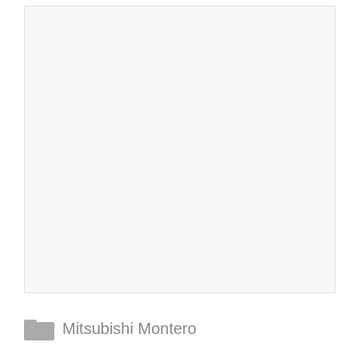[Figure (photo): Large blank/empty image area with light gray background]
Mitsubishi Montero